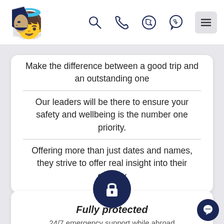[Figure (logo): Website navigation bar with a Pharaoh-style logo icon on the left, and icons for search, phone, Viber, WhatsApp, and a hamburger menu on the right]
Make the difference between a good trip and an outstanding one
Our leaders will be there to ensure your safety and wellbeing is the number one priority.
Offering more than just dates and names, they strive to offer real insight into their country
[Figure (illustration): Dark navy blue circle with a white padlock icon in the center]
Fully protected
24/7 emergency support while abroad